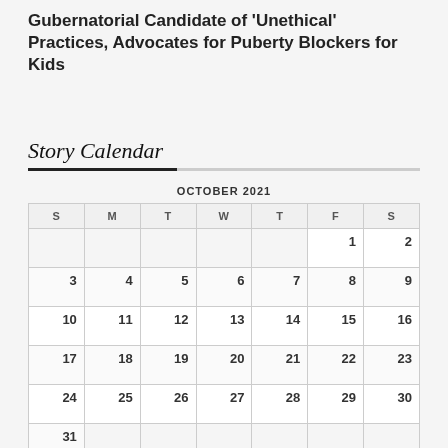Gubernatorial Candidate of 'Unethical' Practices, Advocates for Puberty Blockers for Kids
Story Calendar
| S | M | T | W | T | F | S |
| --- | --- | --- | --- | --- | --- | --- |
|  |  |  |  |  | 1 | 2 |
| 3 | 4 | 5 | 6 | 7 | 8 | 9 |
| 10 | 11 | 12 | 13 | 14 | 15 | 16 |
| 17 | 18 | 19 | 20 | 21 | 22 | 23 |
| 24 | 25 | 26 | 27 | 28 | 29 | 30 |
| 31 |  |  |  |  |  |  |